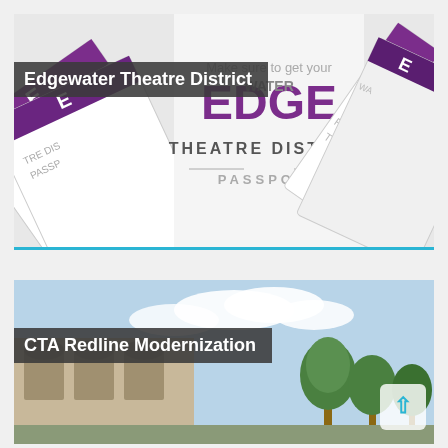[Figure (photo): Edgewater Edge Theatre District Passport promotional image showing passport cards with purple and white design, text 'Make sure to get your EDGEWATER THEATRE DISTRICT PASSPORT']
Edgewater Theatre District
[Figure (photo): CTA Redline Modernization photo showing a transit station building exterior with trees and blue sky]
CTA Redline Modernization